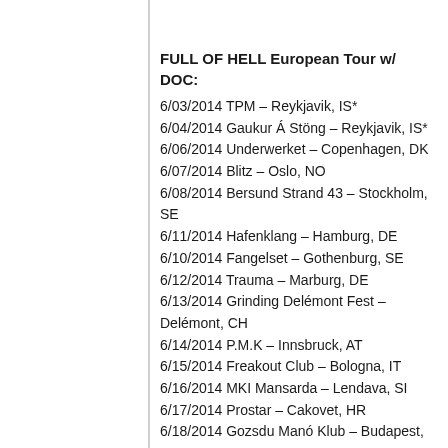FULL OF HELL European Tour w/ DOC:
6/03/2014 TPM – Reykjavik, IS*
6/04/2014 Gaukur Á Stöng – Reykjavik, IS*
6/06/2014 Underwerket – Copenhagen, DK
6/07/2014 Blitz – Oslo, NO
6/08/2014 Bersund Strand 43 – Stockholm, SE
6/11/2014 Hafenklang – Hamburg, DE
6/10/2014 Fangelset – Gothenburg, SE
6/12/2014 Trauma – Marburg, DE
6/13/2014 Grinding Delémont Fest – Delémont, CH
6/14/2014 P.M.K – Innsbruck, AT
6/15/2014 Freakout Club – Bologna, IT
6/16/2014 MKI Mansarda – Lendava, SI
6/17/2014 Prostar – Cakovet, HR
6/18/2014 Gozsdu Manó Klub – Budapest, HU
6/19/2014 Das Bach – Vienna, AT
6/20/2014 [venue] – [city], PL